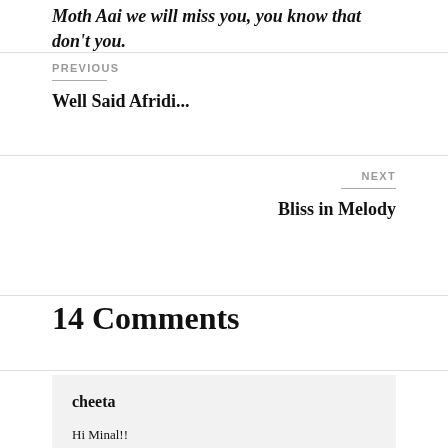Moth Aai we will miss you, you know that don't you.
PREVIOUS
Well Said Afridi...
NEXT
Bliss in Melody
14 Comments
cheeta
Hi Minal!!
Its my mothi aai's 1st "Varshi" today I just searched